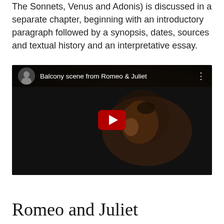The Sonnets, Venus and Adonis) is discussed in a separate chapter, beginning with an introductory paragraph followed by a synopsis, dates, sources and textual history and an interpretative essay.
[Figure (screenshot): YouTube video embed showing 'Balcony scene from Romeo & Juliet' with a play button overlay on a dark background featuring a woman with her hand to her face.]
Romeo and Juliet